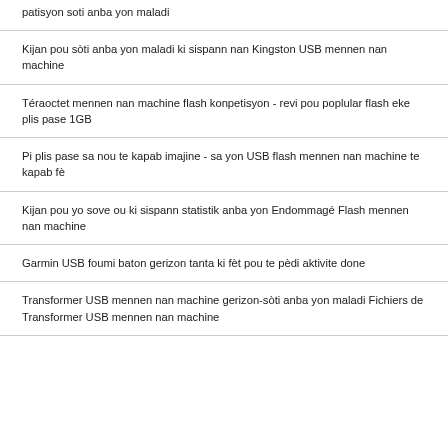patisyon soti anba yon maladi
Kijan pou sòti anba yon maladi ki sispann nan Kingston USB mennen nan machine
Téraoctet mennen nan machine flash konpetisyon - revi pou poplular flash eke plis pase 1GB
Pi plis pase sa nou te kapab imajine - sa yon USB flash mennen nan machine te kapab fè
Kijan pou yo sove ou ki sispann statistik anba yon Endommagé Flash mennen nan machine
Garmin USB foumi baton gerizon tanta ki fèt pou te pèdi aktivite done
Transformer USB mennen nan machine gerizon-sòti anba yon maladi Fichiers de Transformer USB mennen nan machine